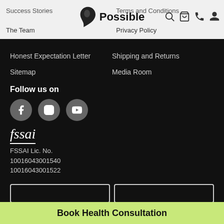Success Stories  |  Terms and Conditions  |  The Team  |  Privacy Policy
[Figure (logo): Possible brand logo with P icon and wordmark]
Honest Expectation Letter
Shipping and Returns
Sitemap
Media Room
Follow us on
[Figure (illustration): Social media icons: Facebook, Instagram, YouTube]
[Figure (logo): FSSAI logo in italic serif font]
FSSAI Lic. No.
10016043001540
10016043001522
Book Health Consultation